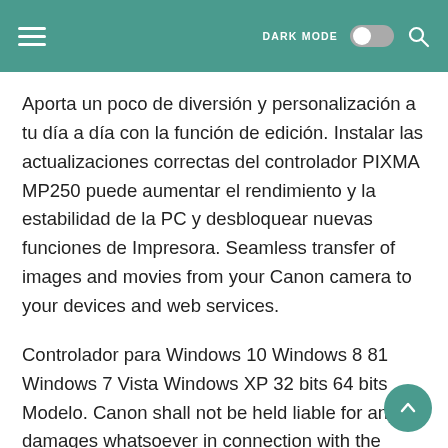DARK MODE [toggle] [search]
Aporta un poco de diversión y personalización a tu día a día con la función de edición. Instalar las actualizaciones correctas del controlador PIXMA MP250 puede aumentar el rendimiento y la estabilidad de la PC y desbloquear nuevas funciones de Impresora. Seamless transfer of images and movies from your Canon camera to your devices and web services.
Controlador para Windows 10 Windows 8 81 Windows 7 Vista Windows XP 32 bits 64 bits Modelo. Canon shall not be held liable for any damages whatsoever in connection with the Content including without limitation indirect consequential exemplary or incidental. Transferencia fluida de imágenes y vídeos desde tu cámara Canon a tus dispositivos y servicios web.